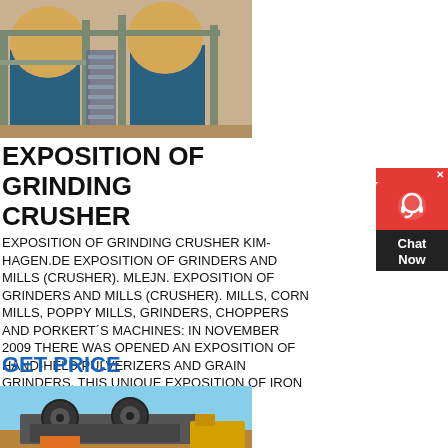[Figure (photo): Industrial grinding/crusher machinery with blue metal structures and conveyor belts at a mining or processing facility]
EXPOSITION OF GRINDING CRUSHER
EXPOSITION OF GRINDING CRUSHER KIM-HAGEN.DE EXPOSITION OF GRINDERS AND MILLS (CRUSHER). MLEJN. EXPOSITION OF GRINDERS AND MILLS (CRUSHER). MILLS, CORN MILLS, POPPY MILLS, GRINDERS, CHOPPERS AND PORKERT´S MACHINES: IN NOVEMBER 2009 THERE WAS OPENED AN EXPOSITION OF HAND-HELD PULVERIZERS AND GRAIN GRINDERS. THIS UNIQUE EXPOSITION OF IRON
GET PRICE
[Figure (photo): Jaw crusher machinery outdoors with large flywheels visible, brown/earthy background]